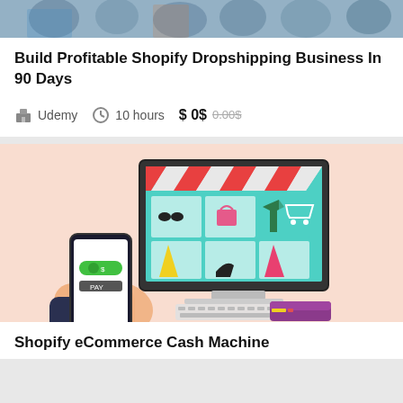[Figure (photo): Cropped top portion of a photo showing a crowd of people]
Build Profitable Shopify Dropshipping Business In 90 Days
Udemy   10 hours   $ 0$   0.00$
[Figure (illustration): E-commerce illustration showing a desktop computer with an online fashion store, a hand holding a smartphone with payment app, a keyboard, and a credit card]
Shopify eCommerce Cash Machine